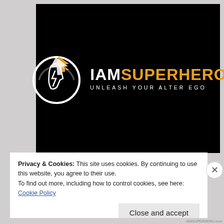[Figure (logo): IAmSuperhero logo on black background. White circular icon with a superhero face profile and lightning bolt, next to bold text 'IAMSUPERHERO' (IAM in white, SUPERHERO in orange/gold) with subtitle 'UNLEASH YOUR ALTER EGO' in white spaced letters.]
Privacy & Cookies: This site uses cookies. By continuing to use this website, you agree to their use.
To find out more, including how to control cookies, see here:
Cookie Policy
Close and accept